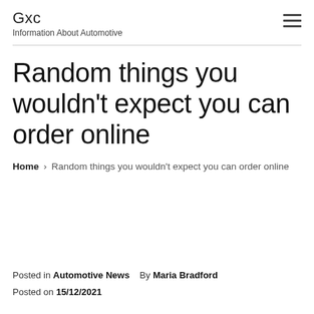Gxc
Information About Automotive
Random things you wouldn't expect you can order online
Home › Random things you wouldn't expect you can order online
Posted in Automotive News    By Maria Bradford
Posted on 15/12/2021